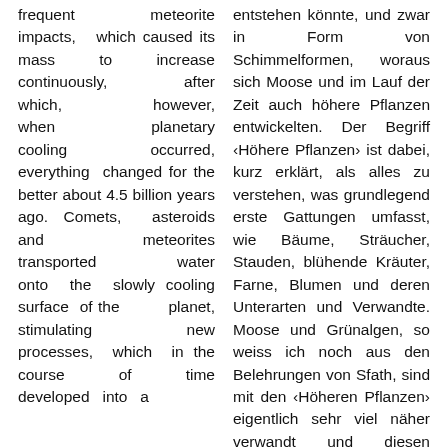frequent meteorite impacts, which caused its mass to increase continuously, after which, however, when planetary cooling occurred, everything changed for the better about 4.5 billion years ago. Comets, asteroids and meteorites transported water onto the slowly cooling surface of the planet, stimulating new processes, which in the course of time developed into a
entstehen könnte, und zwar in Form von Schimmelformen, woraus sich Moose und im Lauf der Zeit auch höhere Pflanzen entwickelten. Der Begriff ‹Höhere Pflanzen› ist dabei, kurz erklärt, als alles zu verstehen, was grundlegend erste Gattungen umfasst, wie Bäume, Sträucher, Stauden, blühende Kräuter, Farne, Blumen und deren Unterarten und Verwandte. Moose und Grünalgen, so weiss ich noch aus den Belehrungen von Sfath, sind mit den ‹Höheren Pflanzen› eigentlich sehr viel näher verwandt und diesen zuzuordnen, als der ungeheuren Vielfalt der anderen ‹Niederen› Pflanzenwelt.